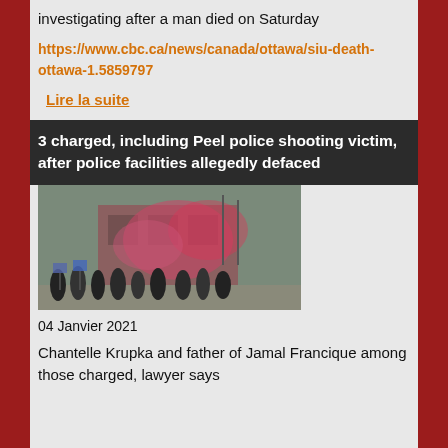investigating after a man died on Saturday
https://www.cbc.ca/news/canada/ottawa/siu-death-ottawa-1.5859797
Lire la suite
3 charged, including Peel police shooting victim, after police facilities allegedly defaced
[Figure (photo): Protest scene with people holding signs and pink/red smoke in the air outside a building in winter]
04 Janvier 2021
Chantelle Krupka and father of Jamal Francique among those charged, lawyer says